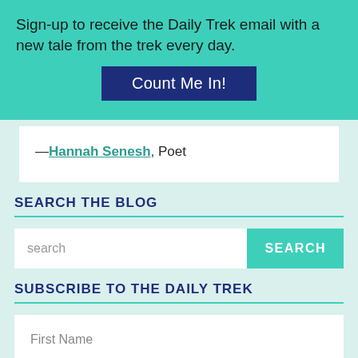Sign-up to receive the Daily Trek email with a new tale from the trek every day.
Count Me In!
—Hannah Senesh, Poet
SEARCH THE BLOG
search
SEARCH
SUBSCRIBE TO THE DAILY TREK
First Name